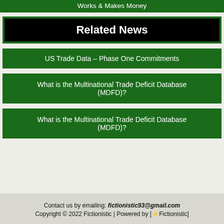Works & Makes Money
Related News
US Trade Data – Phase One Commitments
What is the Multinational Trade Deficit Database (MDFD)?
What is the Multinational Trade Deficit Database (MDFD)?
Contact us by emailing: fictionistic93@gmail.com
Copyright © 2022 Fictionistic | Powered by [⚡Fictionistic]